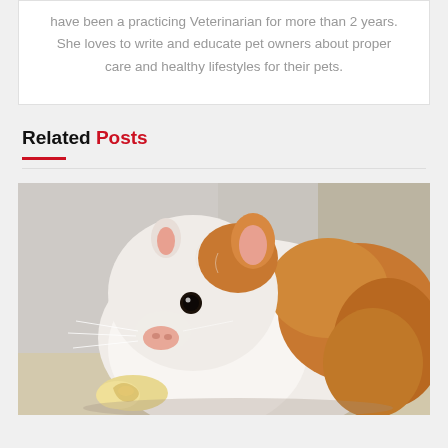have been a practicing Veterinarian for more than 2 years. She loves to write and educate pet owners about proper care and healthy lifestyles for their pets.
Related Posts
[Figure (photo): Close-up photo of a white and orange/brown hamster or guinea pig eating something, with a blurred background.]